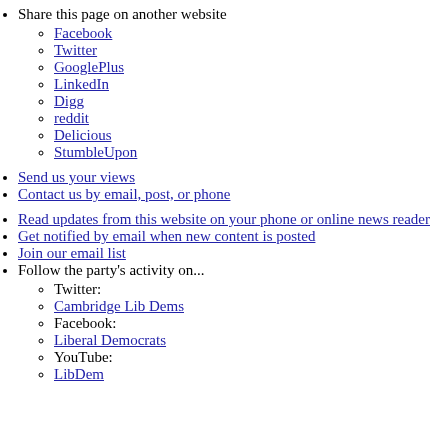Share this page on another website
Facebook
Twitter
GooglePlus
LinkedIn
Digg
reddit
Delicious
StumbleUpon
Send us your views
Contact us by email, post, or phone
Read updates from this website on your phone or online news reader
Get notified by email when new content is posted
Join our email list
Follow the party's activity on...
Twitter:
Cambridge Lib Dems
Facebook:
Liberal Democrats
YouTube:
LibDem